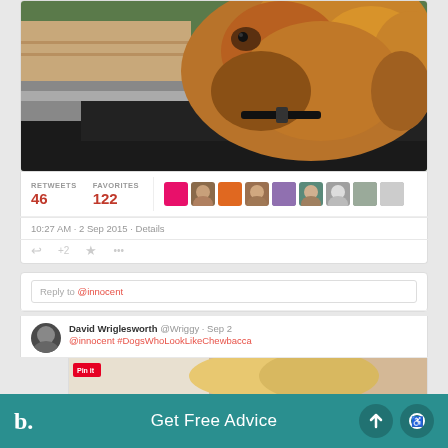[Figure (photo): Close-up photo of a brown/golden fluffy dog (resembling Chewbacca) looking out a car window, wearing a black collar]
RETWEETS 46  FAVORITES 122
10:27 AM · 2 Sep 2015 · Details
[Figure (screenshot): Reply input box with text 'Reply to @innocent']
David Wriglesworth @Wriggy · Sep 2
@innocent #DogsWhoLookLikeChewbacca
[Figure (photo): Partial image of a blonde person/dog with a Pinterest badge]
Get Free Advice